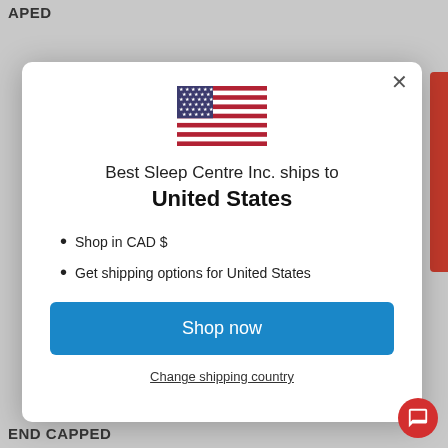APED
[Figure (screenshot): Modal popup showing US flag, shipping info for Best Sleep Centre Inc. to United States, with Shop now button and Change shipping country link]
END CAPPED